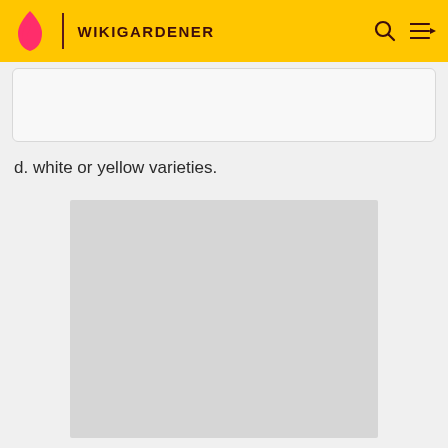WIKIGARDENER
d. white or yellow varieties.
[Figure (photo): Gray placeholder image area for a gardening-related photo]